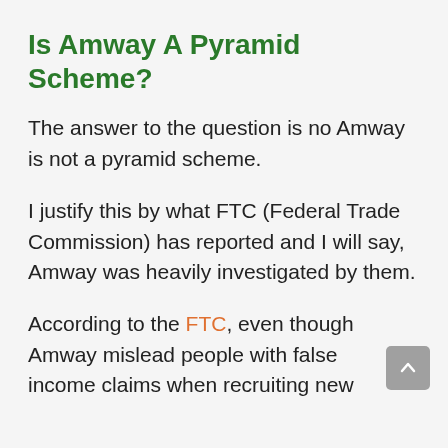Is Amway A Pyramid Scheme?
The answer to the question is no Amway is not a pyramid scheme.
I justify this by what FTC (Federal Trade Commission) has reported and I will say, Amway was heavily investigated by them.
According to the FTC, even though Amway mislead people with false income claims when recruiting new